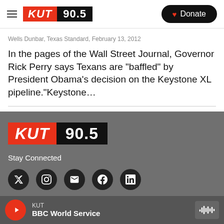KUT 90.5 | Donate
Wells Dunbar, Texas Standard,  February 13, 2012
In the pages of the Wall Street Journal, Governor Rick Perry says Texans are “baffled” by President Obama's decision on the Keystone XL pipeline.“Keystone…
[Figure (logo): KUT 90.5 logo in footer, red KUT block and black 90.5 block]
Stay Connected
[Figure (infographic): Row of 5 social media icon circles: Twitter/X, Instagram, Email, Facebook, LinkedIn]
KUT BBC World Service